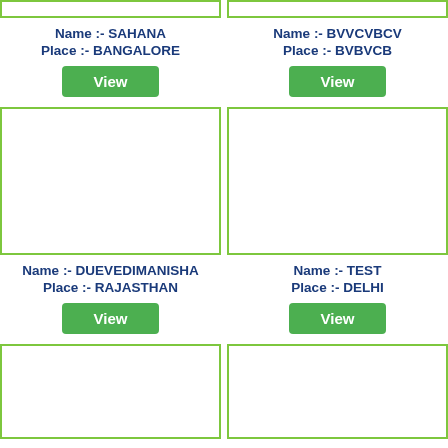[Figure (screenshot): Top left card image box with green border, partially visible at top]
Name :- SAHANA
Place :- BANGALORE
View
[Figure (screenshot): Top right card image box with green border, partially visible at top]
Name :- BVVCVBCV
Place :- BVBVCB
View
[Figure (screenshot): Middle left card image box with green border]
Name :- DUEVEDIMANISHA
Place :- RAJASTHAN
View
[Figure (screenshot): Middle right card image box with green border]
Name :- TEST
Place :- DELHI
View
[Figure (screenshot): Bottom left card image box with green border, partially visible]
[Figure (screenshot): Bottom right card image box with green border, partially visible]